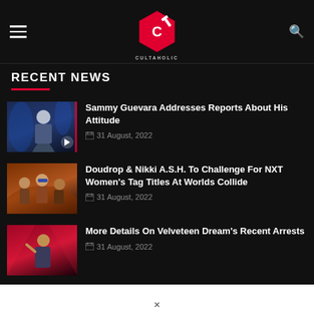Cultaholic navigation header with logo
RECENT NEWS
[Figure (photo): Sammy Guevara photo thumbnail]
Sammy Guevara Addresses Reports About His Attitude
31 August, 2022
[Figure (photo): Doudrop and Nikki A.S.H. tag team photo thumbnail]
Doudrop & Nikki A.S.H. To Challenge For NXT Women's Tag Titles At Worlds Collide
31 August, 2022
[Figure (photo): Velveteen Dream photo thumbnail]
More Details On Velveteen Dream's Recent Arrests
31 August, 2022